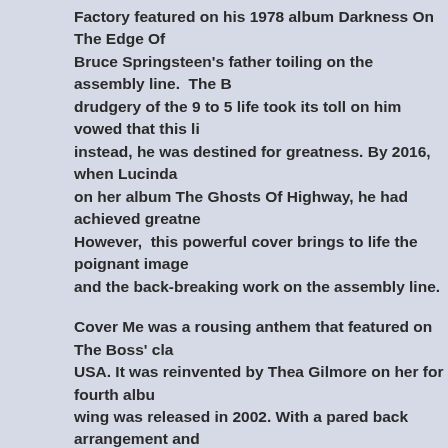Factory featured on his 1978 album Darkness On The Edge Of Town depicts Bruce Springsteen's father toiling on the assembly line. The Boss saw how the drudgery of the 9 to 5 life took its toll on him vowed that this life was not for him, instead, he was destined for greatness. By 2016, when Lucinda Williams included it on her album The Ghosts Of Highway, he had achieved greatness and so much more. However, this powerful cover brings to life the poignant image of Springsteen's father and the back-breaking work on the assembly line.
Cover Me was a rousing anthem that featured on The Boss' classic Born In The USA. It was reinvented by Thea Gilmore on her for fourth album Avalanche, which wing was released in 2002. With a pared back arrangement and a vocal that's totally different to the original, and a welcome addition to the compilation.
Kerry Hart recorded a heartachingly beautiful cover of Secret Garden from I Know A Gun. She transforms the song, but is almost scared to reveal her vulnerability as she sings of about a man loving a woman. However, she does so as if scared to be hurt again.
Closing Ladies Sing The Boss is Emmylou Harris' cover of My Father's House, another track from Nebraska that featured on her 1986 album T